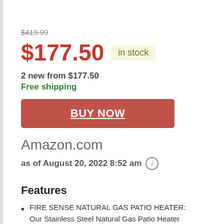$419.99
$177.50  in stock
2 new from $177.50
Free shipping
BUY NOW
Amazon.com
as of August 20, 2022 8:52 am
Features
FIRE SENSE NATURAL GAS PATIO HEATER:
Our Stainless Steel Natural Gas Patio Heater
of the greatest of breathe product